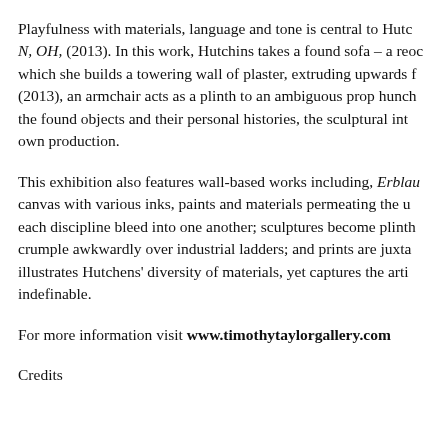Playfulness with materials, language and tone is central to Hutchins' N, OH, (2013). In this work, Hutchins takes a found sofa – a reoc which she builds a towering wall of plaster, extruding upwards f (2013), an armchair acts as a plinth to an ambiguous prop hunch the found objects and their personal histories, the sculptural int own production.
This exhibition also features wall-based works including, Erblau canvas with various inks, paints and materials permeating the u each discipline bleed into one another; sculptures become plinth crumple awkwardly over industrial ladders; and prints are juxta illustrates Hutchens' diversity of materials, yet captures the arti indefinable.
For more information visit www.timothytaylorgallery.com
Credits